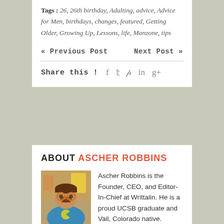Tags : 26, 26th birthday, Adulting, advice, Advice for Men, birthdays, changes, featured, Getting Older, Growing Up, Lessons, life, Manzone, tips
« Previous Post    Next Post »
Share this !  f  ♥  𝒑  in  g+
ABOUT ASCHER ROBBINS
[Figure (photo): Photo of Ascher Robbins wearing a blue t-shirt and novelty glasses, in a casual setting]
Ascher Robbins is the Founder, CEO, and Editor-In-Chief at Writtalin. He is a proud UCSB graduate and Vail, Colorado native. Ascher started Writtalin to get rich and famous, but so far, he is neither of those